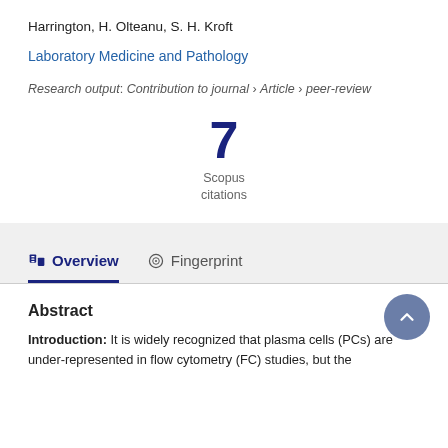Harrington, H. Olteanu, S. H. Kroft
Laboratory Medicine and Pathology
Research output: Contribution to journal › Article › peer-review
7 Scopus citations
Overview   Fingerprint
Abstract
Introduction: It is widely recognized that plasma cells (PCs) are under-represented in flow cytometry (FC) studies, but the